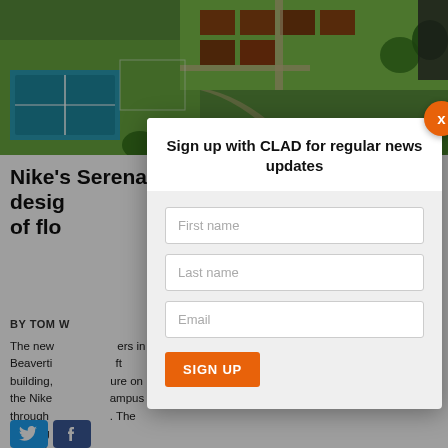[Figure (photo): Aerial view of Nike campus grounds with tennis courts, garden beds, green lawns, and trees]
Nike's Serena Williams Building, designed around concept of flowing spaces
BY TOM W
The new building for Nike headquarters in Beaverton, [a] ft building, [a] ure on the Nike [campus] through [n]. The building [offers] amenities
[Figure (screenshot): Modal popup: Sign up with CLAD for regular news updates. Fields: First name, Last name, Email. Sign Up button. Orange X close button.]